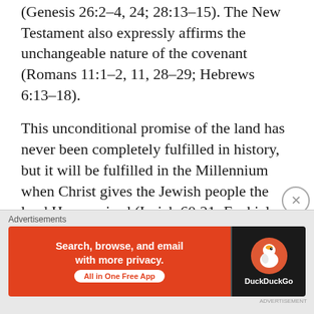(Genesis 26:2-4, 24; 28:13-15). The New Testament also expressly affirms the unchangeable nature of the covenant (Romans 11:1-2, 11, 28-29; Hebrews 6:13-18).
This unconditional promise of the land has never been completely fulfilled in history, but it will be fulfilled in the Millennium when Christ gives the Jewish people the land He promised (Isaiah 60:21; Ezekiel 34:11-16).
The three promises are descendants, land, and blessing:
[Figure (other): DuckDuckGo advertisement banner: orange left panel with text 'Search, browse, and email with more privacy. All in One Free App' and dark right panel with DuckDuckGo duck logo]